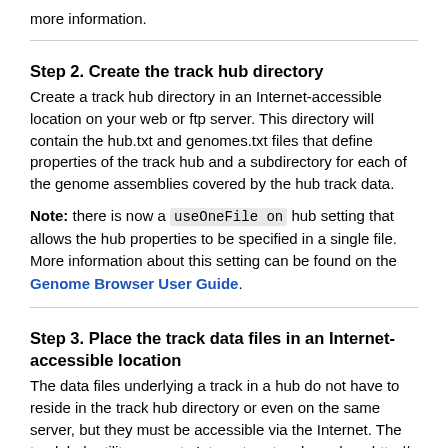more information.
Step 2. Create the track hub directory
Create a track hub directory in an Internet-accessible location on your web or ftp server. This directory will contain the hub.txt and genomes.txt files that define properties of the track hub and a subdirectory for each of the genome assemblies covered by the hub track data.
Note: there is now a useOneFile on hub setting that allows the hub properties to be specified in a single file. More information about this setting can be found on the Genome Browser User Guide.
Step 3. Place the track data files in an Internet-accessible location
The data files underlying a track in a hub do not have to reside in the track hub directory or even on the same server, but they must be accessible via the Internet. The track hub utility supports Internet protocols such as http://, https://, and ftp://, as well as file paths relative to the hub